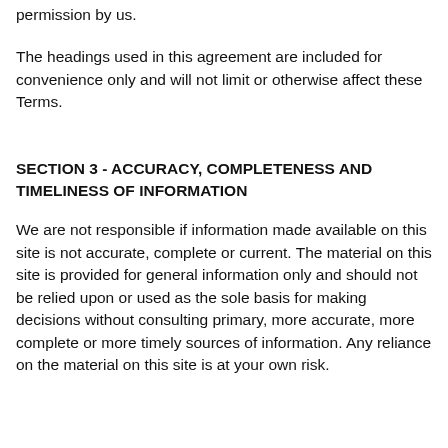permission by us.
The headings used in this agreement are included for convenience only and will not limit or otherwise affect these Terms.
SECTION 3 - ACCURACY, COMPLETENESS AND TIMELINESS OF INFORMATION
We are not responsible if information made available on this site is not accurate, complete or current. The material on this site is provided for general information only and should not be relied upon or used as the sole basis for making decisions without consulting primary, more accurate, more complete or more timely sources of information. Any reliance on the material on this site is at your own risk.